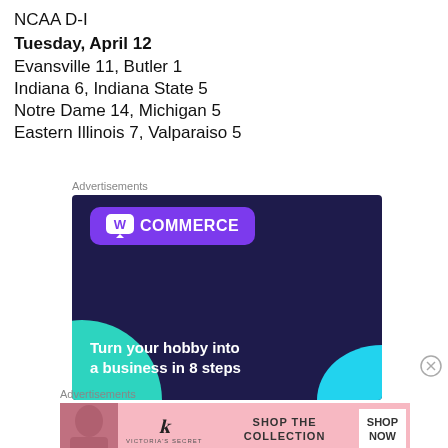NCAA D-I
Tuesday, April 12
Evansville 11, Butler 1
Indiana 6, Indiana State 5
Notre Dame 14, Michigan 5
Eastern Illinois 7, Valparaiso 5
[Figure (illustration): WooCommerce advertisement: dark navy background with purple card showing WooCommerce logo and text 'Turn your hobby into a business in 8 steps']
[Figure (illustration): Victoria's Secret advertisement: pink background with model photo, Victoria's Secret logo, 'SHOP THE COLLECTION', and 'SHOP NOW' button]